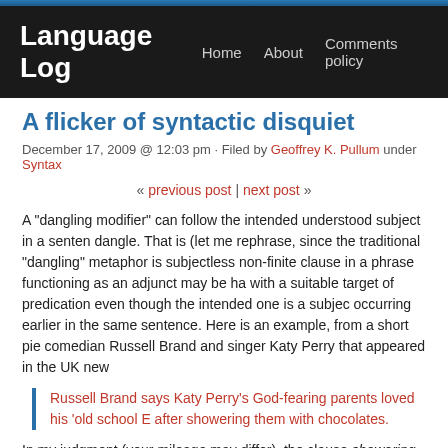Language Log | Home | About | Comments policy
A flicker of syntactic disquiet
December 17, 2009 @ 12:03 pm · Filed by Geoffrey K. Pullum under Syntax
« previous post | next post »
A "dangling modifier" can follow the intended understood subject in a sentence and still dangle. That is (let me rephrase, since the traditional "dangling" metaphor is misleading): a subjectless non-finite clause in a phrase functioning as an adjunct may be harmoniously interpreted with a suitable target of predication even though the intended one is a subject occurring earlier in the same sentence. Here is an example, from a short piece about comedian Russell Brand and singer Katy Perry that appeared in the UK new
Russell Brand says Katy Perry's God-fearing parents loved his 'old school E after showering them with chocolates.
In my judgment (your mileage may differ), the clause showering them with ch occasions a brief moment of involuntary surprise and puzzlement. One does a double-take and then searches back for the right noun phrase to be understood who does the showering.
The judgment is subtle. Some will say that they don't see any unacceptabi